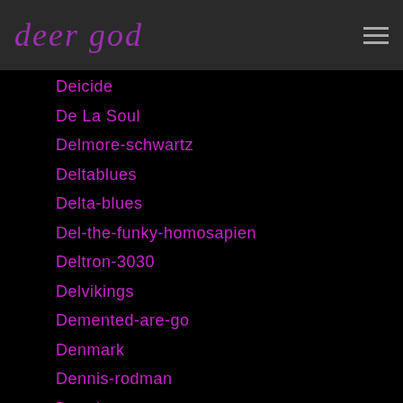deer god
Deicide
De La Soul
Delmore-schwartz
Deltablues
Delta-blues
Del-the-funky-homosapien
Deltron-3030
Delvikings
Demented-are-go
Denmark
Dennis-rodman
Dennis-seaman
Dennis-wilson
Depeche Mode
Derek Jarman
Derrick-morgan
Descendents